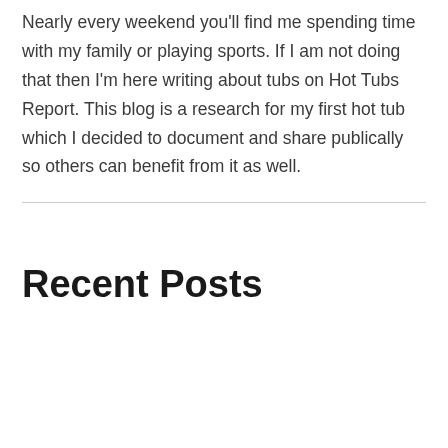Nearly every weekend you'll find me spending time with my family or playing sports. If I am not doing that then I'm here writing about tubs on Hot Tubs Report. This blog is a research for my first hot tub which I decided to document and share publically so others can benefit from it as well.
Recent Posts